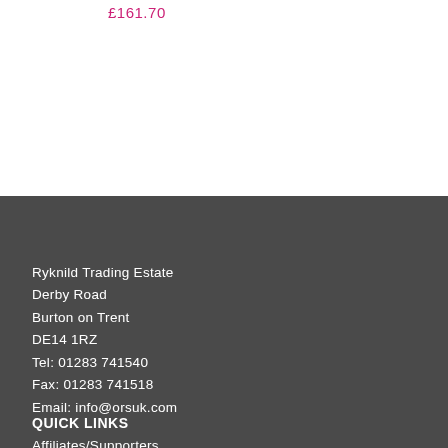£161.70
Ryknild Trading Estate
Derby Road
Burton on Trent
DE14 1RZ
Tel: 01283 741540
Fax: 01283 741518
Email: info@orsuk.com
QUICK LINKS
Affiliates/Supporters